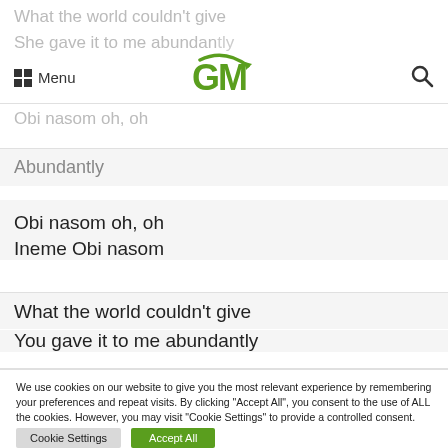What the world couldn't give
She gave it to me abundantly
Menu [grid icon] [moon icon] GM logo [search icon]
Obi nasom oh, oh
Abundantly
Obi nasom oh, oh
Ineme Obi nasom
What the world couldn't give
You gave it to me abundantly
We use cookies on our website to give you the most relevant experience by remembering your preferences and repeat visits. By clicking "Accept All", you consent to the use of ALL the cookies. However, you may visit "Cookie Settings" to provide a controlled consent.